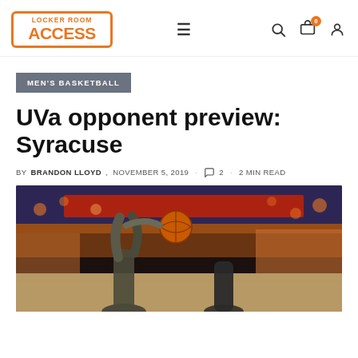Locker Room Access — navigation header with logo, menu, search, cart, account icons
MEN'S BASKETBALL
UVa opponent preview: Syracuse
BY BRANDON LLOYD, NOVEMBER 5, 2019 · 2 · 2 MIN READ
[Figure (photo): Basketball action photo showing players reaching for a ball in an arena with orange crowd in background]